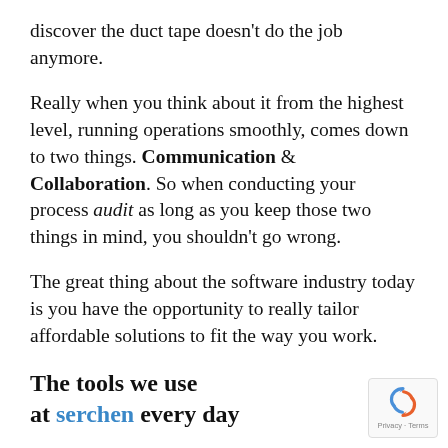discover the duct tape doesn't do the job anymore.
Really when you think about it from the highest level, running operations smoothly, comes down to two things. Communication & Collaboration. So when conducting your process audit as long as you keep those two things in mind, you shouldn't go wrong.
The great thing about the software industry today is you have the opportunity to really tailor affordable solutions to fit the way you work.
The tools we use at serchen every day
[Figure (logo): reCAPTCHA badge with circular arrow icon and Privacy - Terms text]